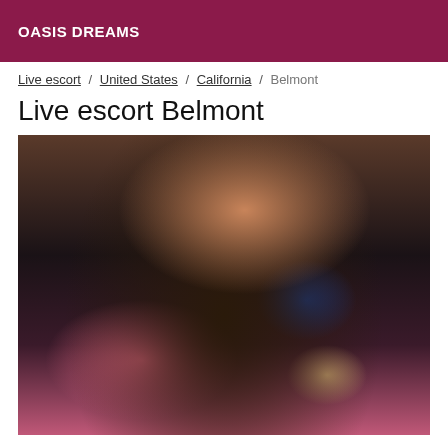OASIS DREAMS
Live escort / United States / California / Belmont
Live escort Belmont
[Figure (photo): Photo of a woman sitting on a pink bed wearing a blue and black outfit]